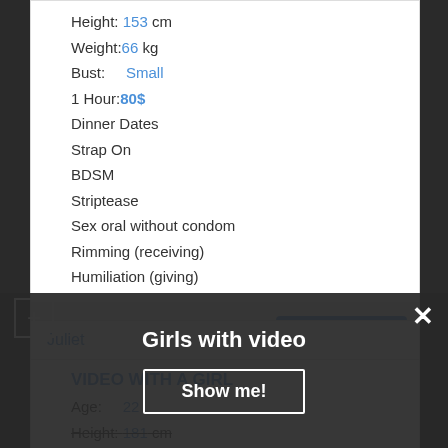Height: 153 cm
Weight: 66 kg
Bust: Small
1 Hour: 80$
Dinner Dates
Strap On
BDSM
Striptease
Sex oral without condom
Rimming (receiving)
Humiliation (giving)
More photo
Juliet
VIDEO WITH A GIRL
Age: 22
Height: 181 cm
Bust: ...
Lesbi-snow soft
Girls with video
Show me!